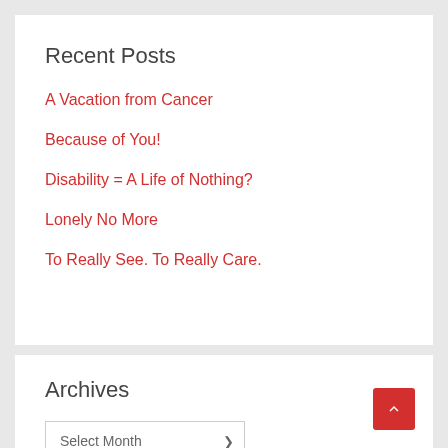Recent Posts
A Vacation from Cancer
Because of You!
Disability = A Life of Nothing?
Lonely No More
To Really See. To Really Care.
Archives
Select Month